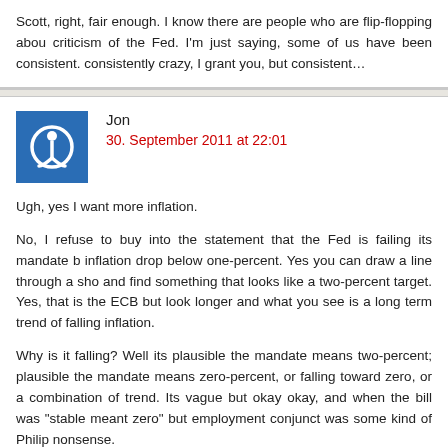Scott, right, fair enough. I know there are people who are flip-flopping about criticism of the Fed. I'm just saying, some of us have been consistent. Consistently crazy, I grant you, but consistent…
Jon
30. September 2011 at 22:01
Ugh, yes I want more inflation.
No, I refuse to buy into the statement that the Fed is failing its mandate b inflation drop below one-percent. Yes you can draw a line through a sho and find something that looks like a two-percent target. Yes, that is the ECB but look longer and what you see is a long term trend of falling inflation.
Why is it falling? Well its plausible the mandate means two-percent; plausible the mandate means zero-percent, or falling toward zero, or a combination of trend. Its vague but okay okay, and when the bill was "stable meant zero" but employment conjunct was some kind of Philips nonsense.
The legalese of the mandate is a thin reed. Hanging your hat there ma seem dogmatic.
Okay what about the full employment part of the mandate? Again, it was dr part of that old Philips curve saw. So how do we know full employment